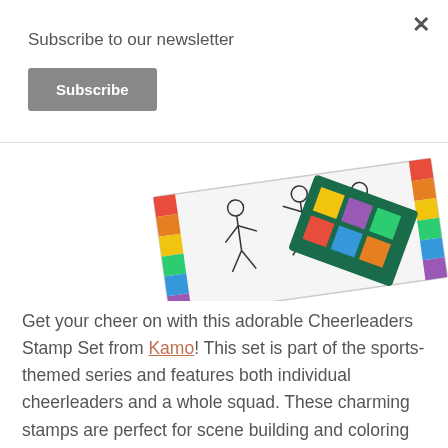Subscribe to our newsletter
Subscribe
[Figure (photo): Partial product image of a Cheerleaders Stamp Set showing stamp sheets with colorful cheerleader figures and rainbow-colored stamp pads.]
Get your cheer on with this adorable Cheerleaders Stamp Set from Kamo! This set is part of the sports-themed series and features both individual cheerleaders and a whole squad. These charming stamps are perfect for scene building and coloring with your favorite coloring media. Use with the coordinating die set which is available separately or in a stamp & die combo